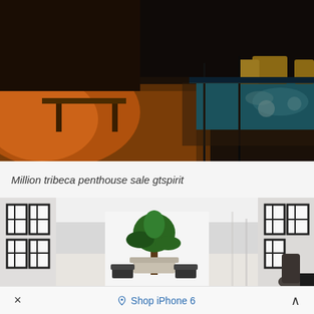[Figure (photo): Rooftop terrace at night with pool and warm lighting, outdoor furniture visible]
Million tribeca penthouse sale gtspirit
[Figure (photo): Bright modern penthouse interior with tall black-framed windows on both sides, large plant, dining furniture, white walls and ceiling]
× Shop iPhone 6 ^